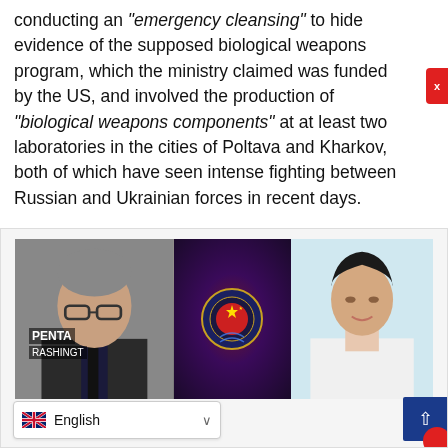conducting an “emergency cleansing” to hide evidence of the supposed biological weapons program, which the ministry claimed was funded by the US, and involved the production of “biological weapons components” at at least two laboratories in the cities of Poltava and Kharkov, both of which have seen intense fighting between Russian and Ukrainian forces in recent days.
[Figure (photo): Composite image showing a man in a suit at a Pentagon press conference on the left, a Chinese intelligence-themed graphic with a CIA-style seal in the center, and a young Asian woman in a white lab coat on the right. A language selector bar showing English with UK flag is at the bottom left, and a blue scroll-up button is at bottom right.]